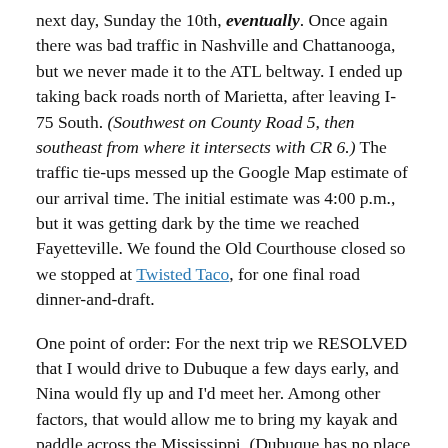next day, Sunday the 10th, eventually. Once again there was bad traffic in Nashville and Chattanooga, but we never made it to the ATL beltway. I ended up taking back roads north of Marietta, after leaving I-75 South. (Southwest on County Road 5, then southeast from where it intersects with CR 6.) The traffic tie-ups messed up the Google Map estimate of our arrival time. The initial estimate was 4:00 p.m., but it was getting dark by the time we reached Fayetteville. We found the Old Courthouse closed so we stopped at Twisted Taco, for one final road dinner-and-draft.
One point of order: For the next trip we RESOLVED that I would drive to Dubuque a few days early, and Nina would fly up and I'd meet her. Among other factors, that would allow me to bring my kayak and paddle across the Mississippi. (Dubuque has no place that I could find to rent a kayak or canoe.) And don't forget that five pounds gained.
Next day, Monday the 11th, I went back to my regular diet